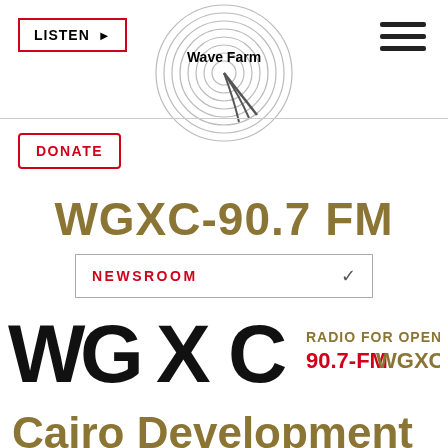Wave Farm
WGXC-90.7 FM
NEWSROOM
[Figure (logo): WGXC Radio For Open Ears 90.7-FM WGXC.ORG logo banner with stylized WGXC lettering]
Cairo Development